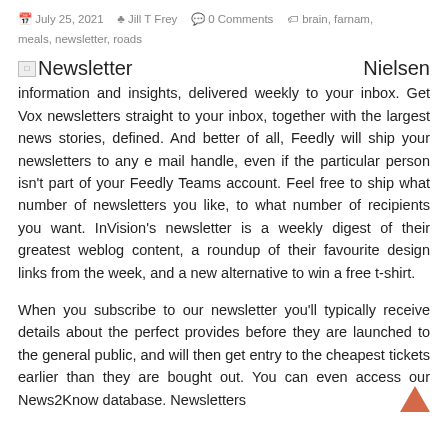July 25, 2021  Jill T Frey  0 Comments  brain, farnam, meals, newsletter, roads
[Newsletter image] Nielsen information and insights, delivered weekly to your inbox. Get Vox newsletters straight to your inbox, together with the largest news stories, defined. And better of all, Feedly will ship your newsletters to any e mail handle, even if the particular person isn't part of your Feedly Teams account. Feel free to ship what number of newsletters you like, to what number of recipients you want. InVision's newsletter is a weekly digest of their greatest weblog content, a roundup of their favourite design links from the week, and a new alternative to win a free t-shirt.
When you subscribe to our newsletter you'll typically receive details about the perfect provides before they are launched to the general public, and will then get entry to the cheapest tickets earlier than they are bought out. You can even access our News2Know database. Newsletters